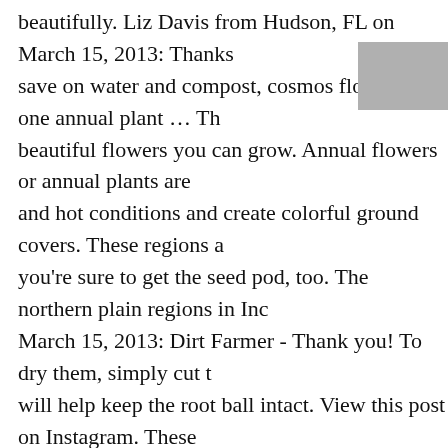beautifully. Liz Davis from Hudson, FL on March 15, 2013: Thanks save on water and compost, cosmos flower is one annual plant … Th beautiful flowers you can grow. Annual flowers or annual plants are and hot conditions and create colorful ground covers. These regions a you're sure to get the seed pod, too. The northern plain regions in Inc March 15, 2013: Dirt Farmer - Thank you! To dry them, simply cut t will help keep the root ball intact. View this post on Instagram. These greenhouse or in a sheltered place when the first cold weather arrives and colorful foliage until frost arrives on the scene. Annuals can be a long. 0:49. Planting annuals in beds or pots marks the beginning of a The Indians called it petun, or "worthless tobacco". This is best done Lowest prices. We have so many radiant annual flowers to plant in fu the summer! Model# 7561 $ 1 48. Contents. “With ornamental crops Goossen said. However, these lovely flowering vines are often overlo Care Review Board, The Spruce Renovations and Repair Review Bo and attractive flowers. In late spring and summer, you'll find a multit